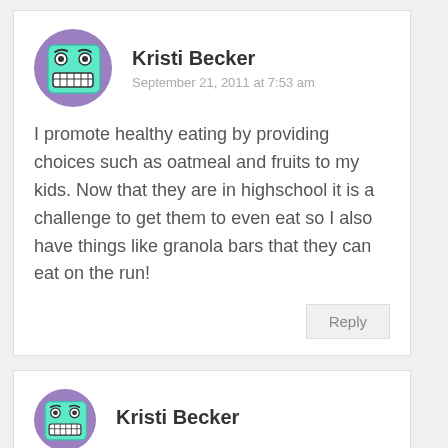[Figure (illustration): Avatar icon: cartoon face with wide eyes and clenched teeth on a teal square background, inside a purple circle, for user Kristi Becker]
Kristi Becker
September 21, 2011 at 7:53 am
I promote healthy eating by providing choices such as oatmeal and fruits to my kids. Now that they are in highschool it is a challenge to get them to even eat so I also have things like granola bars that they can eat on the run!
Reply
[Figure (illustration): Avatar icon: cartoon face with wide eyes and clenched teeth on a teal square background, inside a purple circle, for user Kristi Becker (second comment, partially visible)]
Kristi Becker